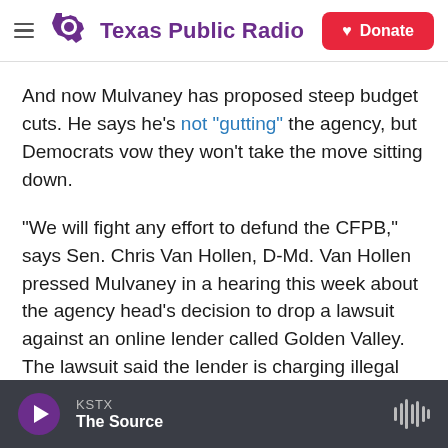Texas Public Radio | Donate
And now Mulvaney has proposed steep budget cuts. He says he's not "gutting" the agency, but Democrats vow they won't take the move sitting down.
"We will fight any effort to defund the CFPB," says Sen. Chris Van Hollen, D-Md. Van Hollen pressed Mulvaney in a hearing this week about the agency head's decision to drop a lawsuit against an online lender called Golden Valley. The lawsuit said the lender is charging illegal and predatory interest rates.
KSTX The Source